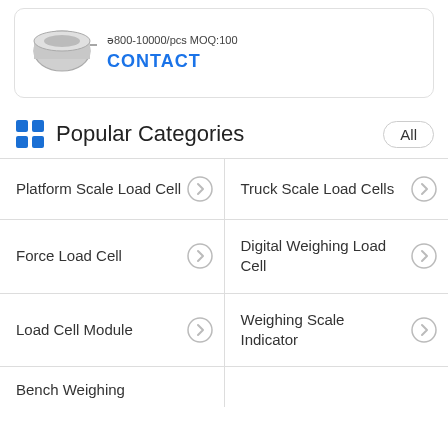[Figure (photo): Product image of a cylindrical load cell sensor, metallic silver, with a wire attached, shown partially cropped]
Î800-10000/pcs MOQ:100
CONTACT
Popular Categories
Platform Scale Load Cell
Truck Scale Load Cells
Force Load Cell
Digital Weighing Load Cell
Load Cell Module
Weighing Scale Indicator
Bench Weighing